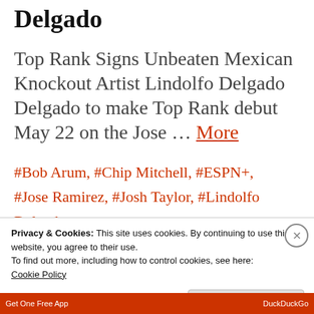Delgado
Top Rank Signs Unbeaten Mexican Knockout Artist Lindolfo Delgado Delgado to make Top Rank debut May 22 on the Jose ... More
#Bob Arum, #Chip Mitchell, #ESPN+, #Jose Ramirez, #Josh Taylor, #Lindolfo Delgado #MTK Global, #TheFightJournal.com
Privacy & Cookies: This site uses cookies. By continuing to use this website, you agree to their use. To find out more, including how to control cookies, see here: Cookie Policy
Close and accept